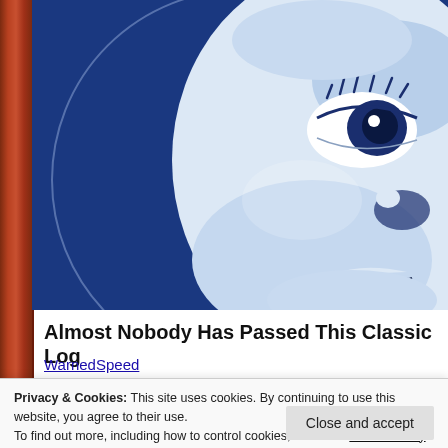[Figure (illustration): Blue and white artistic illustration of a baby or doll face close-up on a dark navy blue background, with stylized bold lines, prominent eye with lashes, nose, and slightly open mouth. A large circular outline is visible around the face.]
Almost Nobody Has Passed This Classic Log
WarnedSpeed
Privacy & Cookies: This site uses cookies. By continuing to use this website, you agree to their use.
To find out more, including how to control cookies, see here: Cookie Policy
Close and accept